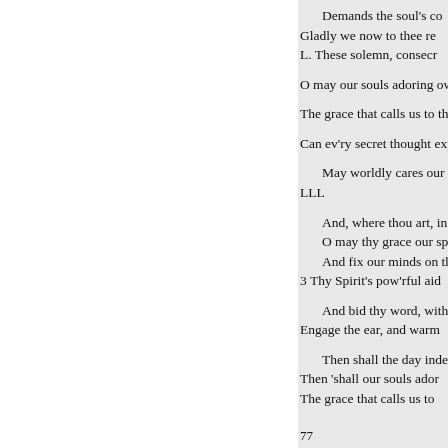Demands the soul's co...
Gladly we now to thee re...
L. These solemn, consecr...

O may our souls adoring ow...

The grace that calls us to th...

Can ev'ry secret thought exp...

    May worldly cares ou...
LLL

    And, where thou art, in...
    O may thy grace our spir...
    And fix our minds on thi...
    3 Thy Spirit's pow'rful aid...

    And bid thy word, with b...
    Engage the ear, and warm...

    Then shall the day indee...
    Then 'shall our souls ador...
    The grace that calls us to...
77